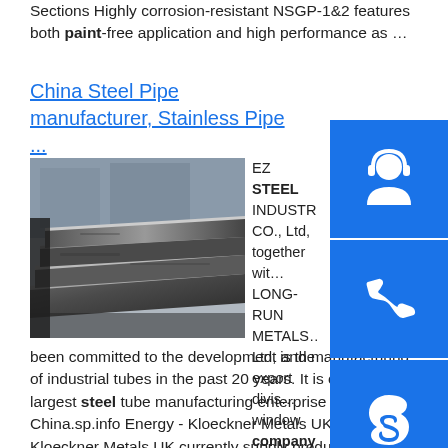Sections Highly corrosion-resistant NSGP-1&2 features both paint-free application and high performance as …
China Steel Pipe manufacturer, Stainless Pipe ...
[Figure (photo): Photo of steel sheets/plates stacked, dark grey metallic surface]
EZ STEEL INDUSTRY CO., Ltd, together with LONG-RUN METALS Ltd, is the export division window company of STEEL GROUP, which founded in 1996 and been committed to the development and manufacturing of industrial tubes in the past 20 years. It is one of the largest steel tube manufacturing enterprise groups in China.sp.info Energy - Kloeckner Metals UKMarkets. Kloeckner Metals UK currently supply products to a wide variety of customers in the Energy markets, applications include Structural, Offshore, Boiler and Pressure vessel.
[Figure (illustration): Blue square button with white headset/customer support icon]
[Figure (illustration): Blue square button with white phone/call icon]
[Figure (illustration): Blue square button with white Skype icon]